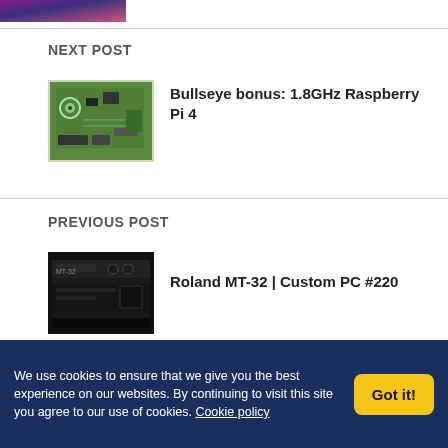[Figure (photo): Partial top image cropped at top of page, appears to be a colorful photo]
NEXT POST
[Figure (photo): Raspberry Pi 4 circuit board, green PCB with components]
Bullseye bonus: 1.8GHz Raspberry Pi 4
PREVIOUS POST
[Figure (photo): Roland MT-32 synthesizer module, black device]
Roland MT-32 | Custom PC #220
We use cookies to ensure that we give you the best experience on our websites. By continuing to visit this site you agree to our use of cookies. Cookie policy